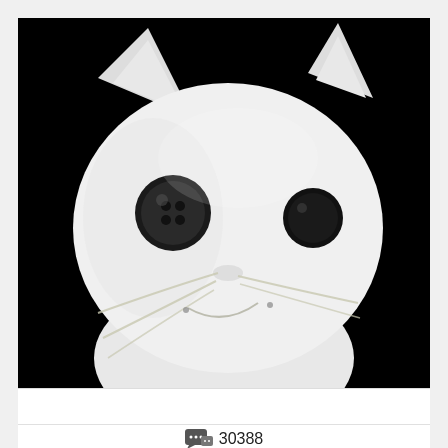[Figure (photo): Close-up black and white photo of a stuffed cat toy (plushie) with button eyes and sewn whiskers, against a black background. The cat has pointed ears, a round white fabric face, two dark button eyes, and curved stitched whiskers/smile.]
30388